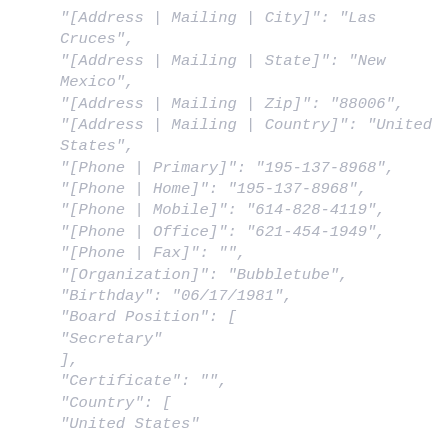"[Address | Mailing | City]": "Las Cruces",
"[Address | Mailing | State]": "New Mexico",
"[Address | Mailing | Zip]": "88006",
"[Address | Mailing | Country]": "United States",
"[Phone | Primary]": "195-137-8968",
"[Phone | Home]": "195-137-8968",
"[Phone | Mobile]": "614-828-4119",
"[Phone | Office]": "621-454-1949",
"[Phone | Fax]": "",
"[Organization]": "Bubbletube",
"Birthday": "06/17/1981",
"Board Position": [
  "Secretary"
],
"Certificate": "",
"Country": [
  "United States"